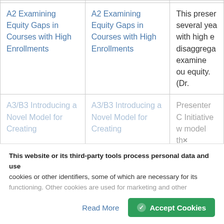| Session | Session | Description |
| --- | --- | --- |
| A2 Examining Equity Gaps in Courses with High Enrollments | A2 Examining Equity Gaps in Courses with High Enrollments | This preser several yea with high e disaggrega examine ou equity. (Dr. |
| A3/B3 Introducing a Novel Model for Creating | A3/B3 Introducing a Novel Model for Creating | Presenter C Initiative w model th |
This website or its third-party tools process personal data and use cookies or other identifiers, some of which are necessary for its functioning. Other cookies are used for marketing and other purposes.